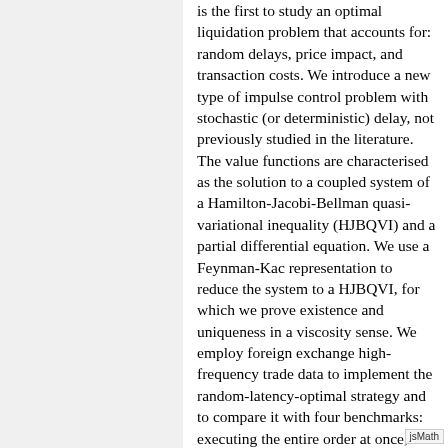is the first to study an optimal liquidation problem that accounts for: random delays, price impact, and transaction costs. We introduce a new type of impulse control problem with stochastic (or deterministic) delay, not previously studied in the literature. The value functions are characterised as the solution to a coupled system of a Hamilton-Jacobi-Bellman quasi-variational inequality (HJBQVI) and a partial differential equation. We use a Feynman-Kac representation to reduce the system to a HJBQVI, for which we prove existence and uniqueness in a viscosity sense. We employ foreign exchange high-frequency trade data to implement the random-latency-optimal strategy and to compare it with four benchmarks: executing the entire order at once, optimal execution with deterministic latency, optimal execution with zero latency, and time-weighted average price. For example, in the EUR/USD currency pair, we show that the random-latency-optimal strategy and the deterministic-latency optimal strategy outperform the benchmarks between 3 USI